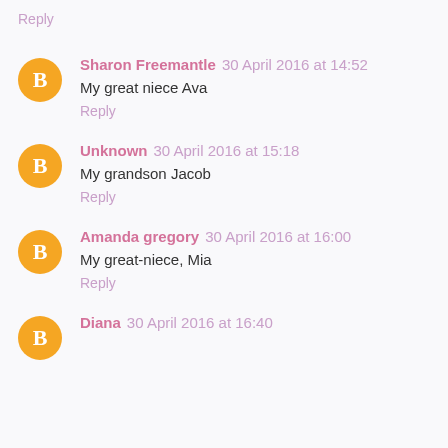Reply
Sharon Freemantle 30 April 2016 at 14:52
My great niece Ava
Reply
Unknown 30 April 2016 at 15:18
My grandson Jacob
Reply
Amanda gregory 30 April 2016 at 16:00
My great-niece, Mia
Reply
Diana 30 April 2016 at 16:40